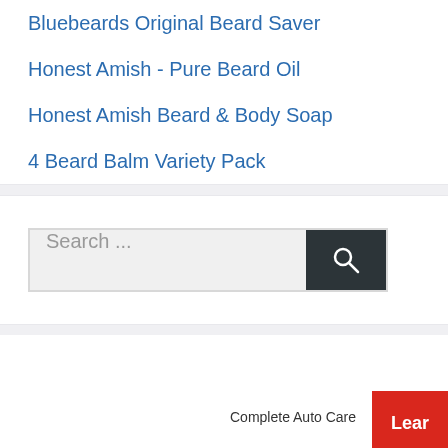Bluebeards Original Beard Saver
Honest Amish - Pure Beard Oil
Honest Amish Beard & Body Soap
4 Beard Balm Variety Pack
[Figure (screenshot): Search input box with placeholder text 'Search ...' and dark teal search button with magnifying glass icon]
Complete Auto Care
Ad